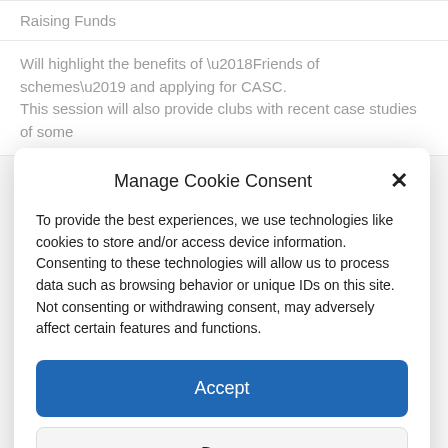| Raising Funds |
| Will highlight the benefits of ‘Friends of schemes’ and applying for CASC. This session will also provide clubs with recent case studies of some |
Manage Cookie Consent
To provide the best experiences, we use technologies like cookies to store and/or access device information. Consenting to these technologies will allow us to process data such as browsing behavior or unique IDs on this site. Not consenting or withdrawing consent, may adversely affect certain features and functions.
Accept
Deny
View preferences